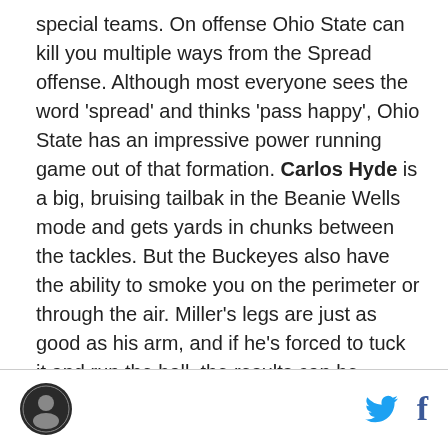special teams. On offense Ohio State can kill you multiple ways from the Spread offense. Although most everyone sees the word 'spread' and thinks 'pass happy', Ohio State has an impressive power running game out of that formation. Carlos Hyde is a big, bruising tailbak in the Beanie Wells mode and gets yards in chunks between the tackles. But the Buckeyes also have the ability to smoke you on the perimeter or through the air. Miller's legs are just as good as his arm, and if he's forced to tuck it and run the ball, the results can be devastating. On defense, Ohio State has been dealing with some injuries and inconsistency in the defensive backfield (63rd nationally in pass defense), but for all their problems they're 10th in total
[logo] [twitter] [facebook]